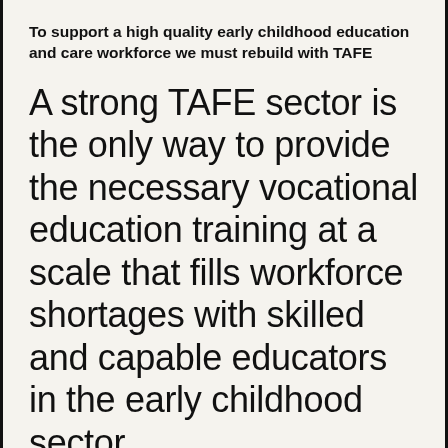To support a high quality early childhood education and care workforce we must rebuild with TAFE
A strong TAFE sector is the only way to provide the necessary vocational education training at a scale that fills workforce shortages with skilled and capable educators in the early childhood sector.
The Australian Children's Education and Care Quality Authority (ACECQA) predicts the sector will